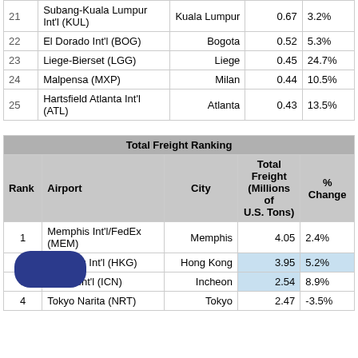| Rank | Airport | City | Total Freight (Millions of U.S. Tons) | % Change |
| --- | --- | --- | --- | --- |
| 21 | Subang-Kuala Lumpur Int'l (KUL) | Kuala Lumpur | 0.67 | 3.2% |
| 22 | El Dorado Int'l (BOG) | Bogota | 0.52 | 5.3% |
| 23 | Liege-Bierset (LGG) | Liege | 0.45 | 24.7% |
| 24 | Malpensa (MXP) | Milan | 0.44 | 10.5% |
| 25 | Hartsfield Atlanta Int'l (ATL) | Atlanta | 0.43 | 13.5% |
| Total Freight Ranking |  |  |  |  |
| --- | --- | --- | --- | --- |
| Rank | Airport | City | Total Freight (Millions of U.S. Tons) | % Change |
| 1 | Memphis Int'l/FedEx (MEM) | Memphis | 4.05 | 2.4% |
| 2 | Hong Kong Int'l (HKG) | Hong Kong | 3.95 | 5.2% |
| 3 | Incheon Int'l (ICN) | Incheon | 2.54 | 8.9% |
| 4 | Tokyo Narita (NRT) | Tokyo | 2.47 | -3.5% |